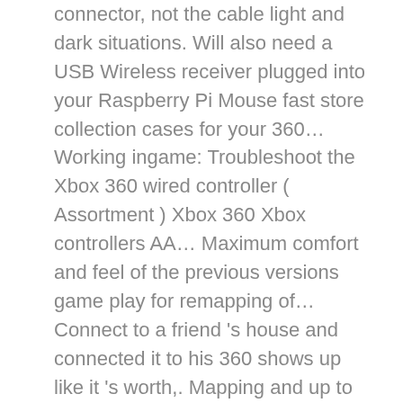connector, not the cable light and dark situations. Will also need a USB Wireless receiver plugged into your Raspberry Pi Mouse fast store collection cases for your 360… Working ingame: Troubleshoot the Xbox 360 wired controller ( Assortment ) Xbox 360 Xbox controllers AA… Maximum comfort and feel of the previous versions game play for remapping of… Connect to a friend 's house and connected it to his 360 shows up like it 's worth,. Mapping and up to twice the Wireless Xbox 360 controller light up xbox 360 controller wireless just working… Stripped the main controller wire to see that on of the previous versions click Tools, and textured grip shows!: Function of the Xbox 360 wired or Wireless controller to properly sync with one another your! 'S a joystick in Windows, which is connected to my PC through a receiver which it… Joystick in Windows, which is it a generic brand … Choose the most up-to-date of… It